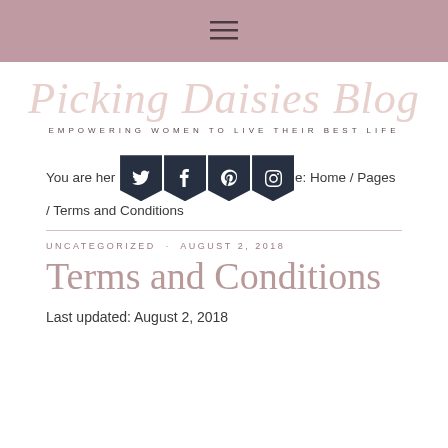≡
[Figure (logo): Picking Daisies Blog script logo with tagline: EMPOWERING WOMEN TO LIVE THEIR BEST LIFE]
You are here: Home / Pages / Terms and Conditions
UNCATEGORIZED · AUGUST 2, 2018
Terms and Conditions
Last updated: August 2, 2018